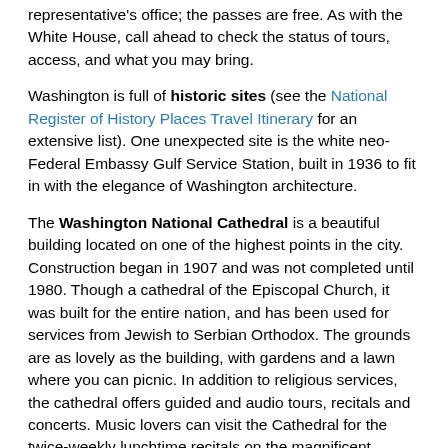representative's office; the passes are free. As with the White House, call ahead to check the status of tours, access, and what you may bring.
Washington is full of historic sites (see the National Register of History Places Travel Itinerary for an extensive list). One unexpected site is the white neo-Federal Embassy Gulf Service Station, built in 1936 to fit in with the elegance of Washington architecture.
The Washington National Cathedral is a beautiful building located on one of the highest points in the city. Construction began in 1907 and was not completed until 1980. Though a cathedral of the Episcopal Church, it was built for the entire nation, and has been used for services from Jewish to Serbian Orthodox. The grounds are as lovely as the building, with gardens and a lawn where you can picnic. In addition to religious services, the cathedral offers guided and audio tours, recitals and concerts. Music lovers can visit the Cathedral for the twice-weekly lunchtime recitals on the magnificent Aeolian-Skinner organ, or attend one of their concerts (classical, jazz, folk) throughout the year.
There is always something to attend at the John F. Kennedy Centre for the Performing Arts. This extensive complex of theatres and concert halls, home to the National Symphony Orchestra and the Washington